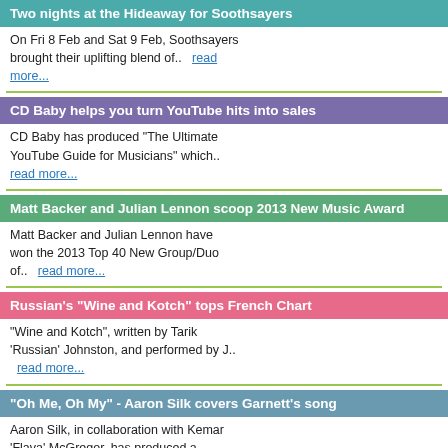Two nights at the Hideaway for Soothsayers
On Fri 8 Feb and Sat 9 Feb, Soothsayers brought their uplifting blend of..   read more...
CD Baby helps you turn YouTube hits into sales
CD Baby has produced "The Ultimate YouTube Guide for Musicians" which.. read more...
Matt Backer and Julian Lennon scoop 2013 New Music Award
Matt Backer and Julian Lennon have won the 2013 Top 40 New Group/Duo of..   read more...
Russian's "Wine and Kotch" tops French Chart
"Wine and Kotch", written by Tarik 'Russian' Johnston, and performed by J.. read more...
"Oh Me, Oh My" - Aaron Silk covers Garnett's song
Aaron Silk, in collaboration with Kemar 'Flava' McGregor, has produced a.. read more...